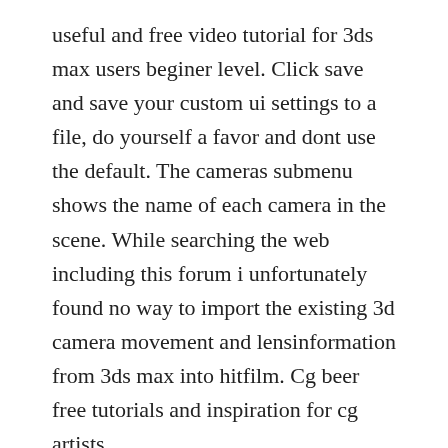useful and free video tutorial for 3ds max users beginer level. Click save and save your custom ui settings to a file, do yourself a favor and dont use the default. The cameras submenu shows the name of each camera in the scene. While searching the web including this forum i unfortunately found no way to import the existing 3d camera movement and lensinformation from 3ds max into hitfilm. Cg beer free tutorials and inspiration for cg artists.
Cylinder height specifies the height of the